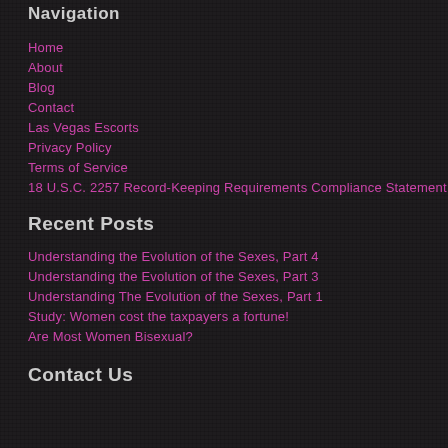Navigation
Home
About
Blog
Contact
Las Vegas Escorts
Privacy Policy
Terms of Service
18 U.S.C. 2257 Record-Keeping Requirements Compliance Statement
Recent Posts
Understanding the Evolution of the Sexes, Part 4
Understanding the Evolution of the Sexes, Part 3
Understanding The Evolution of the Sexes, Part 1
Study: Women cost the taxpayers a fortune!
Are Most Women Bisexual?
Contact Us